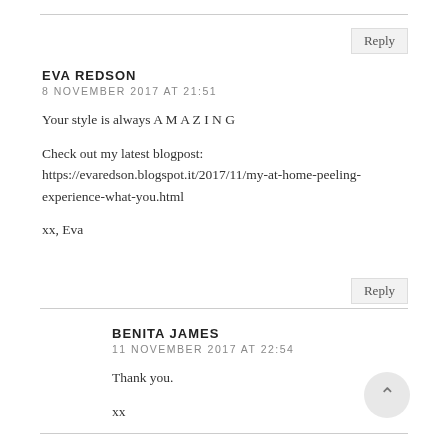EVA REDSON
8 NOVEMBER 2017 AT 21:51
Your style is always A M A Z I N G

Check out my latest blogpost:
https://evaredson.blogspot.it/2017/11/my-at-home-peeling-experience-what-you.html

xx, Eva
BENITA JAMES
11 NOVEMBER 2017 AT 22:54
Thank you.

xx